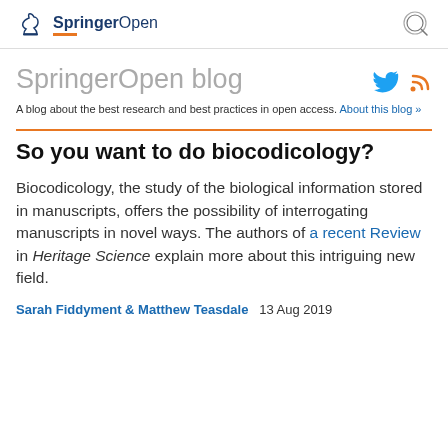SpringerOpen
SpringerOpen blog
A blog about the best research and best practices in open access. About this blog »
So you want to do biocodicology?
Biocodicology, the study of the biological information stored in manuscripts, offers the possibility of interrogating manuscripts in novel ways. The authors of a recent Review in Heritage Science explain more about this intriguing new field.
Sarah Fiddyment & Matthew Teasdale   13 Aug 2019